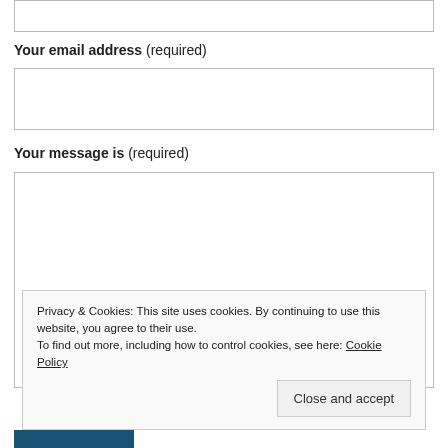[input field - top]
Your email address (required)
[email input field]
Your message is (required)
[message textarea]
Privacy & Cookies: This site uses cookies. By continuing to use this website, you agree to their use.
To find out more, including how to control cookies, see here: Cookie Policy
Close and accept